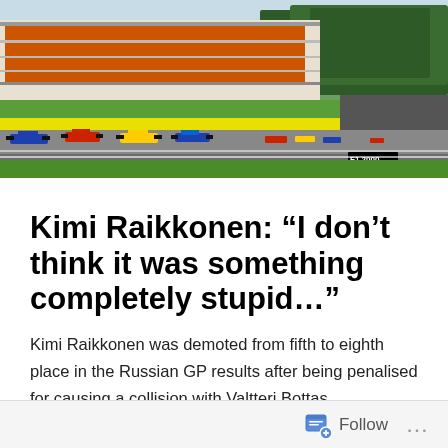[Figure (photo): Aerial view of a Formula 1 race start at a circuit with grandstands packed with orange-clad spectators, multiple F1 cars visible on track, green grass infield, trees in background, Pirelli advertising boards visible.]
Kimi Raikkonen: “I don’t think it was something completely stupid…”
Kimi Raikkonen was demoted from fifth to eighth place in the Russian GP results after being penalised for causing a collision with Valtteri Bottas.
The two Finns collided while battling for third on the last